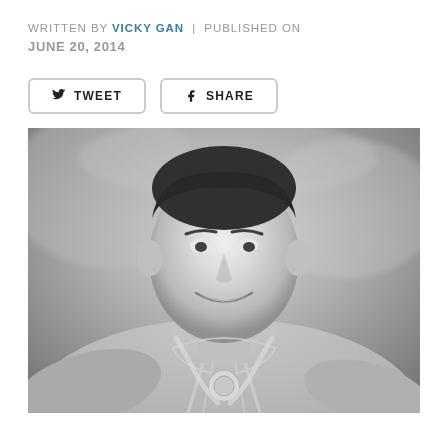WRITTEN BY VICKY GAN | PUBLISHED ON JUNE 20, 2014
[Figure (other): Black and white photograph of a smiling young athletic man wearing a medal around his neck, photographed from the chest up against a blurred outdoor background]